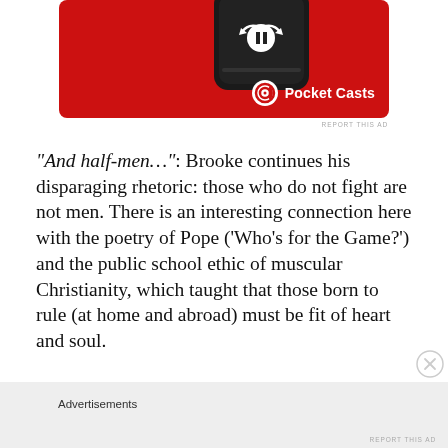[Figure (photo): Advertisement banner for Pocket Casts app showing a red smartphone with app interface and Pocket Casts logo]
REPORT THIS AD
“And half-men…”: Brooke continues his disparaging rhetoric: those who do not fight are not men. There is an interesting connection here with the poetry of Pope (‘Who’s for the Game?’) and the public school ethic of muscular Christianity, which taught that those born to rule (at home and abroad) must be fit of heart and soul.
Advertisements
REPORT THIS AD